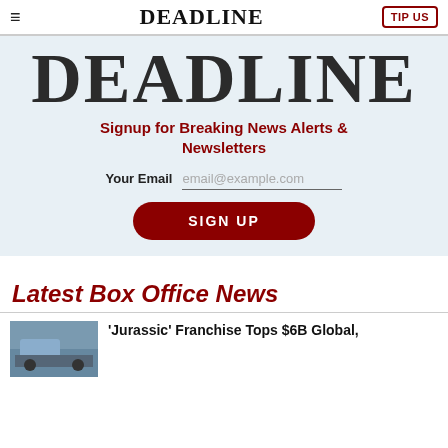≡  DEADLINE  TIP US
[Figure (logo): DEADLINE large serif logo in dark color on light blue-gray background]
Signup for Breaking News Alerts & Newsletters
Your Email  email@example.com
SIGN UP
Latest Box Office News
[Figure (photo): Thumbnail photo partially visible, appears to show a vehicle or outdoor scene]
'Jurassic' Franchise Tops $6B Global,